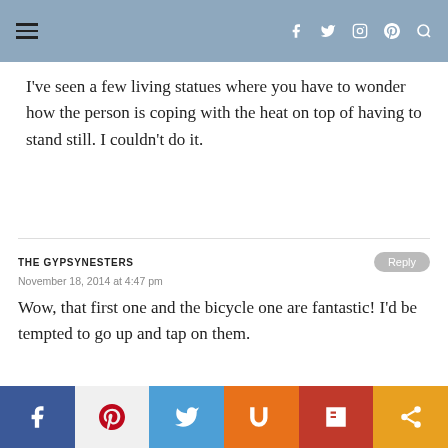Navigation header with hamburger menu and social icons (f, twitter, instagram, pinterest, search)
I've seen a few living statues where you have to wonder how the person is coping with the heat on top of having to stand still. I couldn't do it.
THE GYPSYNESTERS
November 18, 2014 at 4:47 pm
Wow, that first one and the bicycle one are fantastic! I'd be tempted to go up and tap on them.
DONNA JANKE
Social share bar: Facebook, Pinterest, Twitter, Mix, Flipboard, Share